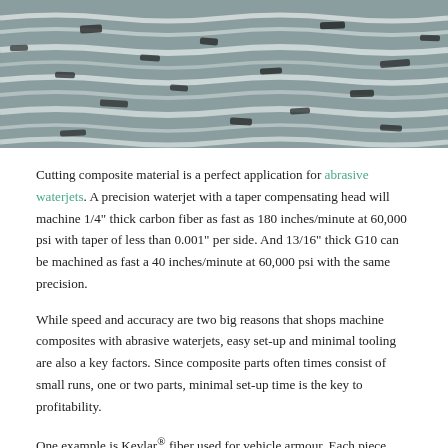[Figure (photo): Close-up photograph of composite fiber material showing woven carbon fiber strands with wavy white fiber layers on a grey background, with dark fragments scattered through the weave.]
Cutting composite material is a perfect application for abrasive waterjets. A precision waterjet with a taper compensating head will machine 1/4" thick carbon fiber as fast as 180 inches/minute at 60,000 psi with taper of less than 0.001" per side. And 13/16" thick G10 can be machined as fast a 40 inches/minute at 60,000 psi with the same precision.
While speed and accuracy are two big reasons that shops machine composites with abrasive waterjets, easy set-up and minimal tooling are also a key factors. Since composite parts often times consist of small runs, one or two parts, minimal set-up time is the key to profitability.
One example is Kevlar® fiber used for vehicle armour. Each piece